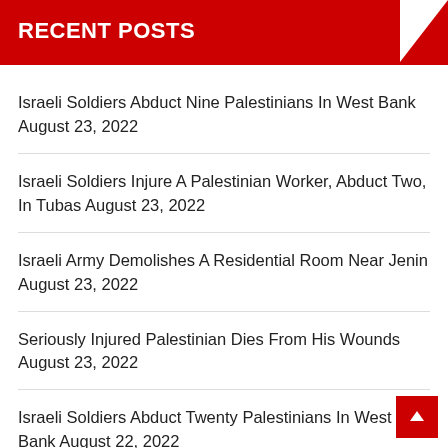RECENT POSTS
Israeli Soldiers Abduct Nine Palestinians In West Bank August 23, 2022
Israeli Soldiers Injure A Palestinian Worker, Abduct Two, In Tubas August 23, 2022
Israeli Army Demolishes A Residential Room Near Jenin August 23, 2022
Seriously Injured Palestinian Dies From His Wounds August 23, 2022
Israeli Soldiers Abduct Twenty Palestinians In West Bank August 22, 2022